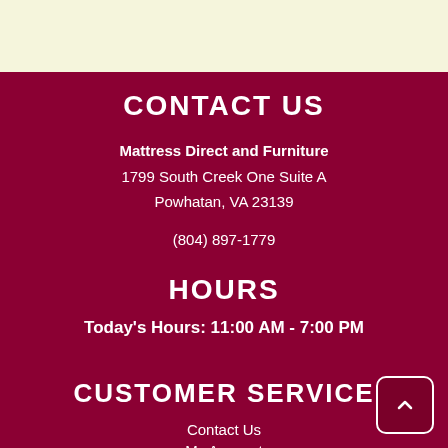CONTACT US
Mattress Direct and Furniture
1799 South Creek One Suite A
Powhatan, VA 23139
(804) 897-1779
HOURS
Today's Hours: 11:00 AM - 7:00 PM
CUSTOMER SERVICE
Contact Us
My Account